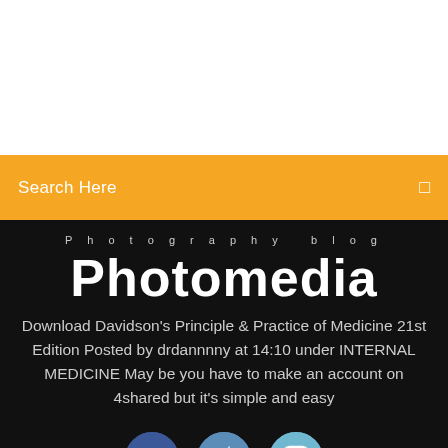[Figure (screenshot): White blank section at top of page]
Search Here
Photography blog
Photomedia
Download Davidson's Principle & Practice of Medicine 21st Edition Posted by drdannnny at 14:10 under INTERNAL MEDICINE May be you have to make an account on 4shared but it's simple and easy
[Figure (illustration): Social media icons: Facebook (f), Twitter (bird), Instagram (camera) as colored circles]